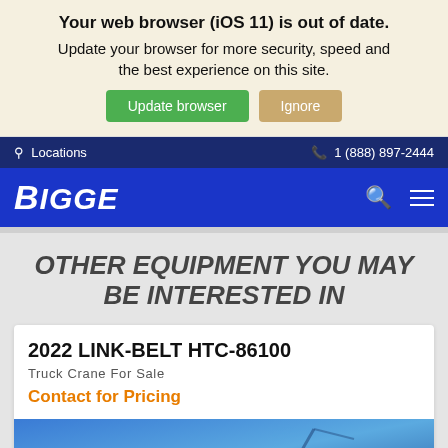Your web browser (iOS 11) is out of date. Update your browser for more security, speed and the best experience on this site.
Update browser | Ignore
Locations | 1 (888) 897-2444
BIGGE
OTHER EQUIPMENT YOU MAY BE INTERESTED IN
2022 LINK-BELT HTC-86100
Truck Crane For Sale
Contact for Pricing
[Figure (photo): Blue sky background with crane silhouette partially visible at bottom of card]